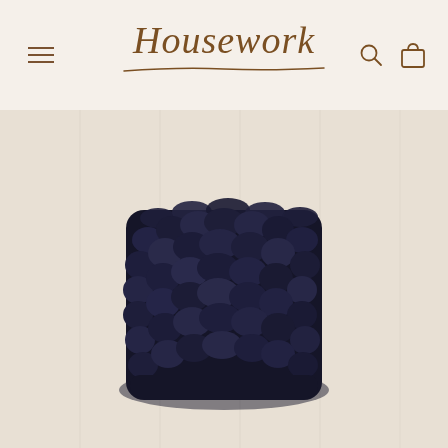Housework — navigation header with menu, logo, search and cart icons
[Figure (photo): Dark navy blue chunky knitted/braided fabric basket or bag photographed from above on a light wooden panel background. The textile object has a heavily textured, rope-like braid pattern in deep navy/indigo color.]